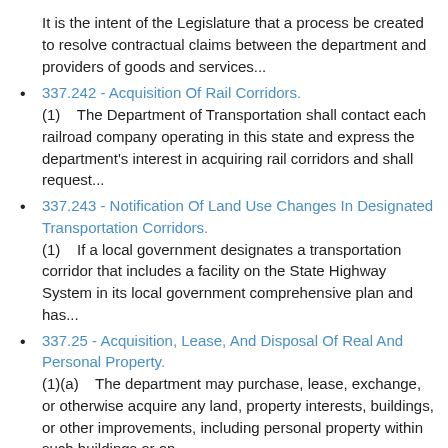It is the intent of the Legislature that a process be created to resolve contractual claims between the department and providers of goods and services...
337.242 - Acquisition Of Rail Corridors.
(1)    The Department of Transportation shall contact each railroad company operating in this state and express the department's interest in acquiring rail corridors and shall request...
337.243 - Notification Of Land Use Changes In Designated Transportation Corridors.
(1)    If a local government designates a transportation corridor that includes a facility on the State Highway System in its local government comprehensive plan and has...
337.25 - Acquisition, Lease, And Disposal Of Real And Personal Property.
(1)(a)    The department may purchase, lease, exchange, or otherwise acquire any land, property interests, buildings, or other improvements, including personal property within such buildings or on...
337.2505 - Donations For Landscape Projects.
The Department of Transportation is authorized to accept donations of plans, materials, installation, and maintenance